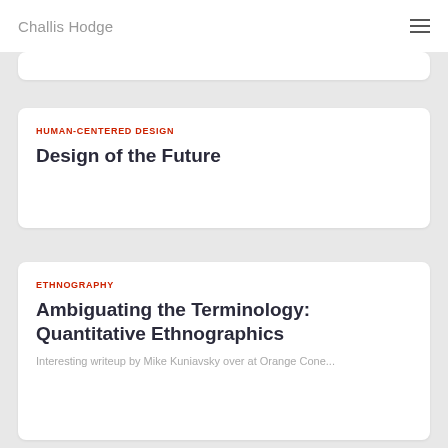Challis Hodge
HUMAN-CENTERED DESIGN
Design of the Future
ETHNOGRAPHY
Ambiguating the Terminology: Quantitative Ethnographics
Interesting writeup by Mike Kuniavsky over at Orange Cone...